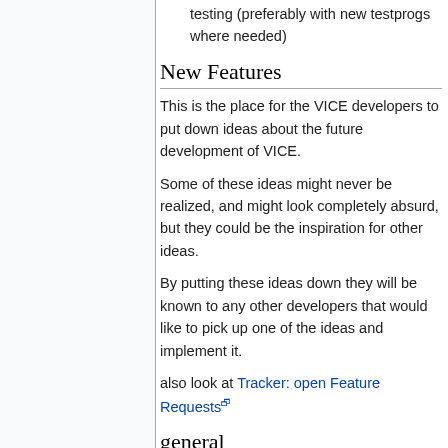testing (preferably with new testprogs where needed)
New Features
This is the place for the VICE developers to put down ideas about the future development of VICE.
Some of these ideas might never be realized, and might look completely absurd, but they could be the inspiration for other ideas.
By putting these ideas down they will be known to any other developers that would like to pick up one of the ideas and implement it.
also look at Tracker: open Feature Requests
general